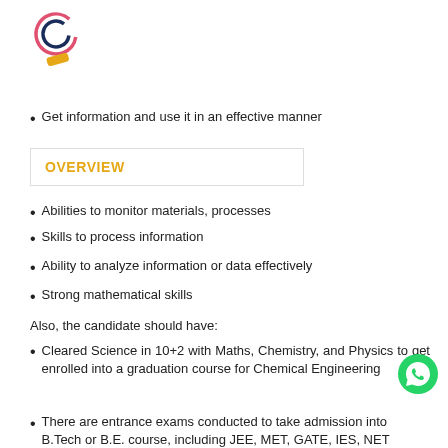[Figure (logo): Circular C logo in dark blue/navy and red/pink outline, with a yellow/orange diagonal slash below it]
Get information and use it in an effective manner
OVERVIEW
Abilities to monitor materials, processes
Skills to process information
Ability to analyze information or data effectively
Strong mathematical skills
Also, the candidate should have:
Cleared Science in 10+2 with Maths, Chemistry, and Physics to get enrolled into a graduation course for Chemical Engineering
There are entrance exams conducted to take admission into B.Tech or B.E. course, including JEE, MET, GATE, IES, NET